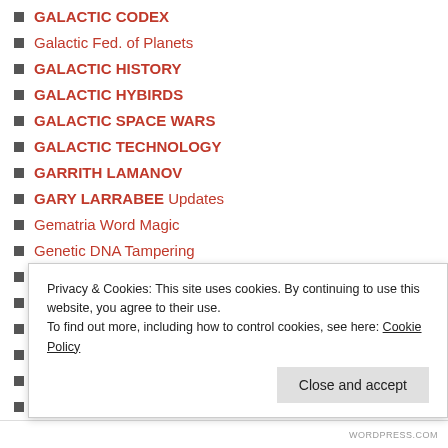GALACTIC CODEX
Galactic Fed. of Planets
GALACTIC HISTORY
GALACTIC HYBIRDS
GALACTIC SPACE WARS
GALACTIC TECHNOLOGY
GARRITH LAMANOV
GARY LARRABEE Updates
Gematria Word Magic
Genetic DNA Tampering
GEO-ENGINEERING
GEORGE RIOT SOROS
GERALD B'UTTS INFO
GIANT NEPHILIM Proof
GLOBAL WARMING FRAUD
GMO ♣ POISON-FOODS
GNOSTIC ILLUMINATI
GOD AND THE PROOF
Privacy & Cookies: This site uses cookies. By continuing to use this website, you agree to their use. To find out more, including how to control cookies, see here: Cookie Policy
WORDPRESS.COM